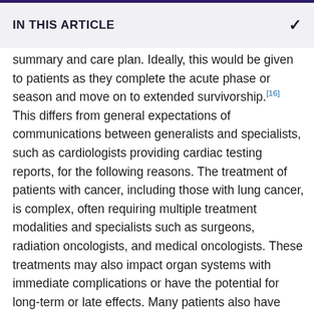IN THIS ARTICLE
summary and care plan. Ideally, this would be given to patients as they complete the acute phase or season and move on to extended survivorship.[16] This differs from general expectations of communications between generalists and specialists, such as cardiologists providing cardiac testing reports, for the following reasons. The treatment of patients with cancer, including those with lung cancer, is complex, often requiring multiple treatment modalities and specialists such as surgeons, radiation oncologists, and medical oncologists. These treatments may also impact organ systems with immediate complications or have the potential for long-term or late effects. Many patients also have comorbid conditions that may arise during or be affected by their cancer care. For example, compared with the general population, patients with lung cancer have a higher risk of developing a second type of cancer, particularly those with a history of smoking who also have risks for head